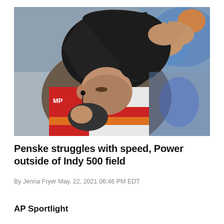[Figure (photo): A racing driver removing or putting on a black balaclava/helmet liner, wearing a red, white, orange and grey racing suit. Crowd visible in the blurred background.]
Penske struggles with speed, Power outside of Indy 500 field
By Jenna Fryer May. 22, 2021 06:46 PM EDT
AP Sportlight